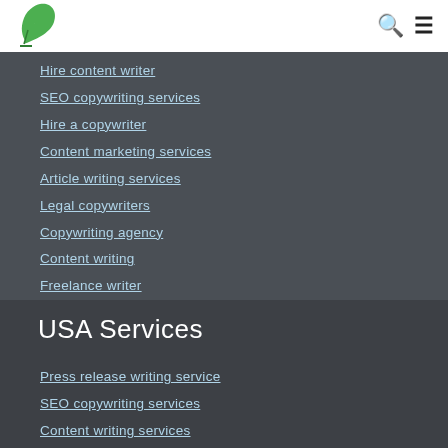[Figure (logo): Green quill/feather pen logo icon]
Hire content writer
SEO copywriting services
Hire a copywriter
Content marketing services
Article writing services
Legal copywriters
Copywriting agency
Content writing
Freelance writer
Blog writer
USA Services
Press release writing service
SEO copywriting services
Content writing services
Content creation services
Article writing service